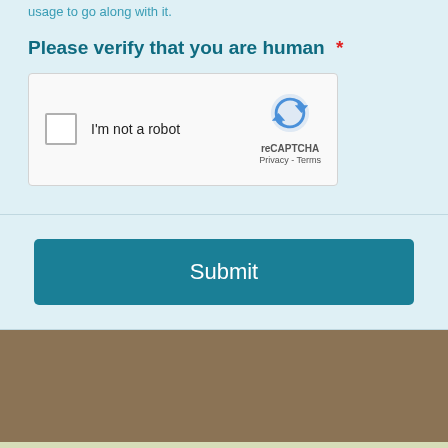usage to go along with it.
Please verify that you are human *
[Figure (other): reCAPTCHA widget with checkbox labeled 'I'm not a robot' and reCAPTCHA logo with 'reCAPTCHA Privacy - Terms' text]
Submit
Thus concludes our slang archive for YGTBKM.